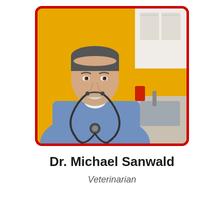[Figure (photo): Portrait photo of Dr. Michael Sanwald wearing blue medical scrubs with a stethoscope around his neck, smiling, standing in a medical clinic with a yellow wall and white cabinets in the background. Photo has a red rounded border.]
Dr. Michael Sanwald
Veterinarian